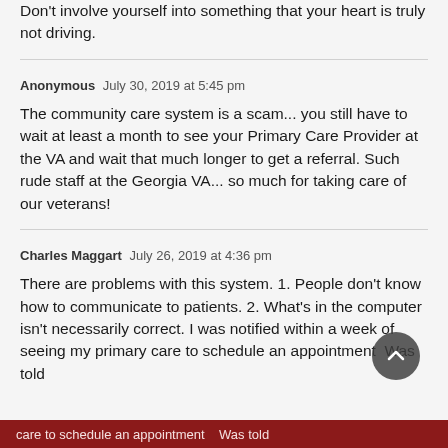Don't involve yourself into something that your heart is truly not driving.
Anonymous  July 30, 2019 at 5:45 pm

The community care system is a scam... you still have to wait at least a month to see your Primary Care Provider at the VA and wait that much longer to get a referral. Such rude staff at the Georgia VA... so much for taking care of our veterans!
Charles Maggart  July 26, 2019 at 4:36 pm

There are problems with this system. 1. People don't know how to communicate to patients. 2. What's in the computer isn't necessarily correct. I was notified within a week of seeing my primary care to schedule an appointment  Was told